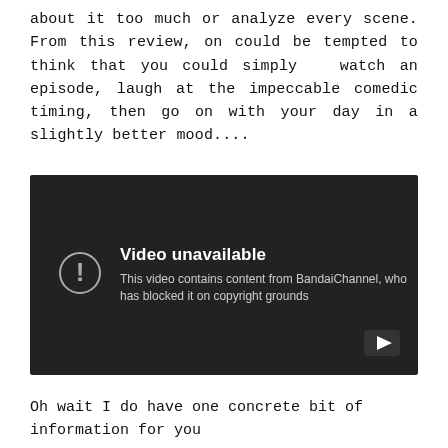about it too much or analyze every scene. From this review, on could be tempted to think that you could simply watch an episode, laugh at the impeccable comedic timing, then go on with your day in a slightly better mood....
[Figure (screenshot): Embedded YouTube video showing 'Video unavailable' message: 'This video contains content from BandaiChannel, who has blocked it on copyright grounds']
Oh wait I do have one concrete bit of information for you